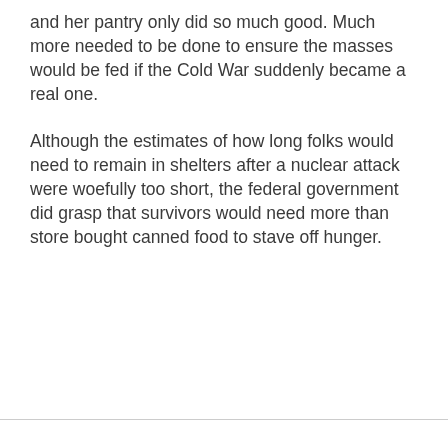and her pantry only did so much good. Much more needed to be done to ensure the masses would be fed if the Cold War suddenly became a real one.
Although the estimates of how long folks would need to remain in shelters after a nuclear attack were woefully too short, the federal government did grasp that survivors would need more than store bought canned food to stave off hunger.